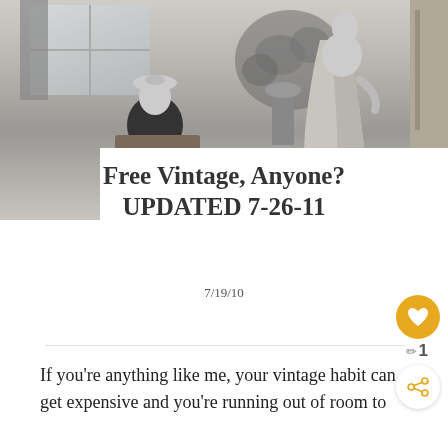[Figure (photo): Black and white vintage photograph showing two women in 1950s fashion — one seated wearing a dark jacket and hat, the other standing in a long light-colored ball gown, with floral arrangement in background]
Free Vintage, Anyone? UPDATED 7-26-11
7/19/10
If you're anything like me, your vintage habit can get expensive and you're running out of room to